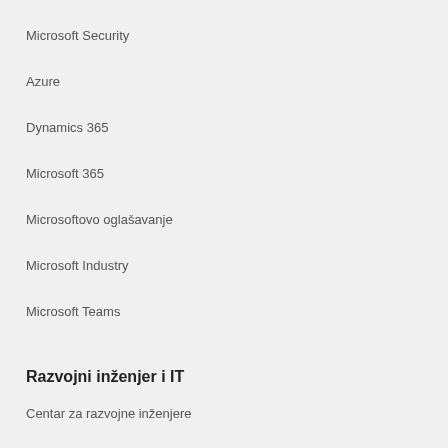Microsoft Security
Azure
Dynamics 365
Microsoft 365
Microsoftovo oglašavanje
Microsoft Industry
Microsoft Teams
Razvojni inženjer i IT
Centar za razvojne inženjere
Dokumentacija
Microsoft Learn
Zajednica Microsoft Tech
Azure Marketplace